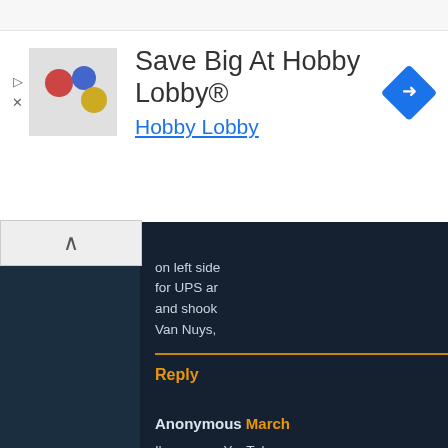[Figure (screenshot): Advertisement banner for Hobby Lobby with product image, text 'Save Big At Hobby Lobby®' and 'Hobby Lobby' subtitle in blue]
on left side for UPS and shook Van Nuys,
Reply
Anonymous March
I've seen a YouTub 51 from the TV ser much else relating fascinating, and fe Station used for th like it did on TV system, flat-scree females on the job LA area that wer